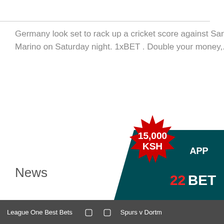Germany look set to rack up a cricket score against San Marino on Saturday night. 1xBET . Double your money,...
News
[Figure (advertisement): 22BET advertisement banner with 15,000 KSH bonus badge and APP text on teal background]
League One Best Bets   |   |   Spurs v Dortm...